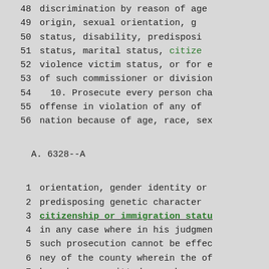48   discrimination by reason of  age
49   origin, sexual  orientation, g
50   status,  disability,  predisposi
51   status,  marital  status,  citize
52   violence victim status, or for e
53   of such commissioner or division
54     10. Prosecute every person cha
55   offense  in violation of any of
56   nation because of age, race, sex
A. 6328--A
1   orientation, gender identity or
2   predisposing  genetic  character
3   citizenship or immigration statu
4   in any case where in his judgmen
5   such prosecution cannot be effec
6   ney of the county wherein the of
7   have  been  committed,  or where